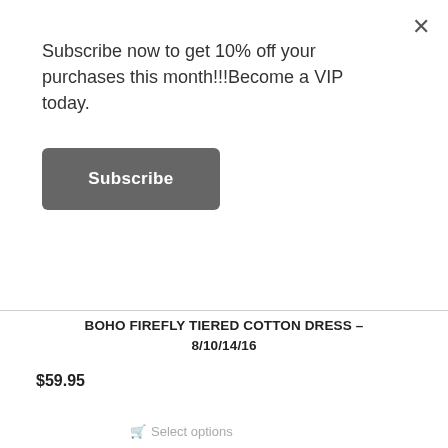Subscribe now to get 10% off your purchases this month!!!Become a VIP today.
Subscribe
[Figure (photo): Photo of a woman wearing a pink/purple floral tiered cotton dress outdoors, showing the skirt flaring out. Background shows green trees/garden.]
BOHO FIREFLY TIERED COTTON DRESS – 8/10/14/16
$59.95
Select options